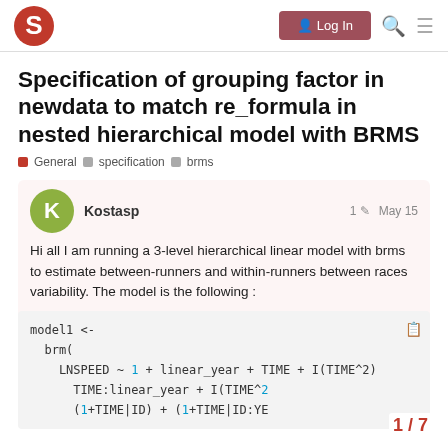Discourse forum navigation bar with logo, Log In button, search and menu icons
Specification of grouping factor in newdata to match re_formula in nested hierarchical model with BRMS
General  specification  brms
Kostasp   1  May 15
Hi all I am running a 3-level hierarchical linear model with brms to estimate between-runners and within-runners between races variability. The model is the following :
1 / 7